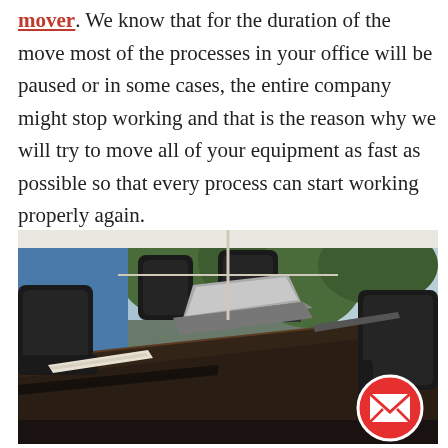mover. We know that for the duration of the move most of the processes in your office will be paused or in some cases, the entire company might stop working and that is the reason why we will try to move all of your equipment as fast as possible so that every process can start working properly again.
[Figure (photo): Photo of a conference room with a large dark wooden table, black leather executive chairs, an open laptop on the table, and large windows in the background showing trees and natural light. A red circular email/envelope button icon overlays the bottom-right corner of the image.]